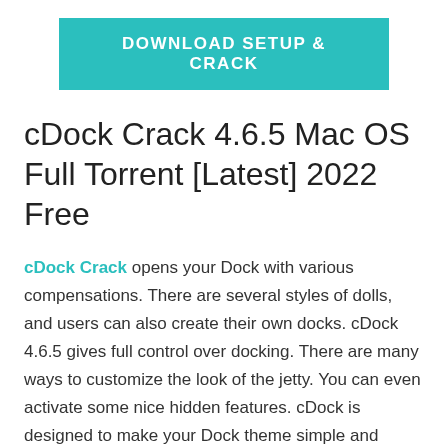[Figure (other): Teal/cyan rectangular button-style banner with white bold uppercase text: DOWNLOAD SETUP & CRACK]
cDock Crack 4.6.5 Mac OS Full Torrent [Latest] 2022 Free
cDock Crack opens your Dock with various compensations. There are several styles of dolls, and users can also create their own docks. cDock 4.6.5 gives full control over docking. There are many ways to customize the look of the jetty. You can even activate some nice hidden features. cDock is designed to make your Dock theme simple and reliable on macOS 10.10 and later.